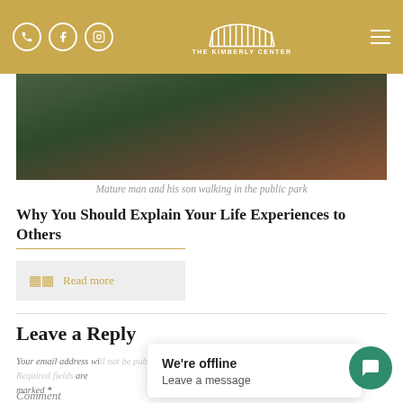The Kimberly Center - navigation header with phone, Facebook, Instagram icons and hamburger menu
[Figure (photo): Two people (mature man and his son) walking in a public park, one in a teal hoodie and one in an orange/rust hoodie, outdoor park setting]
Mature man and his son walking in the public park
Why You Should Explain Your Life Experiences to Others
Read more
Leave a Reply
Your email address wi... are marked *
We're offline
Leave a message
Comment